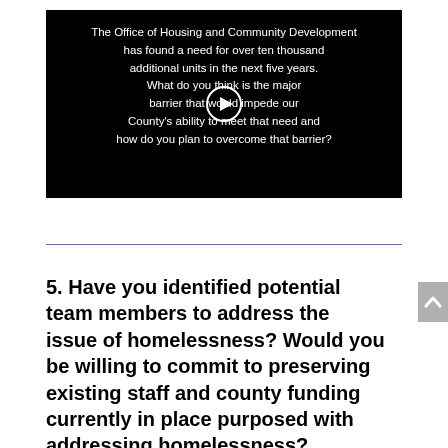[Figure (screenshot): Video player with black background showing white centered text about housing and a circular play button overlay]
5.  Have you identified potential team members to address the issue of homelessness? Would you be willing to commit to preserving existing staff and county funding currently in place purposed with addressing homelessness?